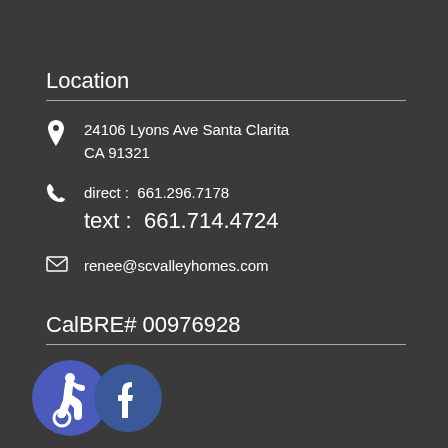Location
24106 Lyons Ave Santa Clarita CA 91321
direct :  661.296.7178
text :  661.714.4724
renee@scvalleyhomes.com
CalBRE# 00976928
[Figure (logo): Accessibility icon (blue circle with wheelchair symbol) and Facebook icon (blue circle with 'f' logo)]